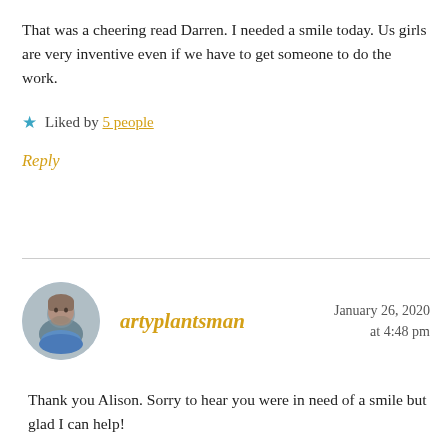That was a cheering read Darren. I needed a smile today. Us girls are very inventive even if we have to get someone to do the work.
★ Liked by 5 people
Reply
artyplantsman  January 26, 2020 at 4:48 pm
Thank you Alison. Sorry to hear you were in need of a smile but glad I can help!